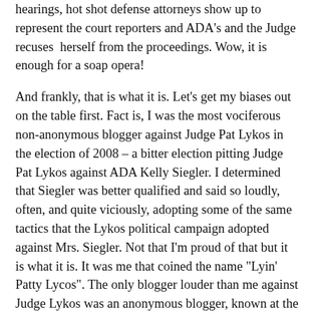hearings, hot shot defense attorneys show up to represent the court reporters and ADA's and the Judge recuses herself from the proceedings. Wow, it is enough for a soap opera!
And frankly, that is what it is. Let's get my biases out on the table first. Fact is, I was the most vociferous non-anonymous blogger against Judge Pat Lykos in the election of 2008 – a bitter election pitting Judge Pat Lykos against ADA Kelly Siegler. I determined that Siegler was better qualified and said so loudly, often, and quite viciously, adopting some of the same tactics that the Lykos political campaign adopted against Mrs. Siegler. Not that I'm proud of that but it is what it is. It was me that coined the name "Lyin' Patty Lycos". The only blogger louder than me against Judge Lykos was an anonymous blogger, known at the time as A Harris